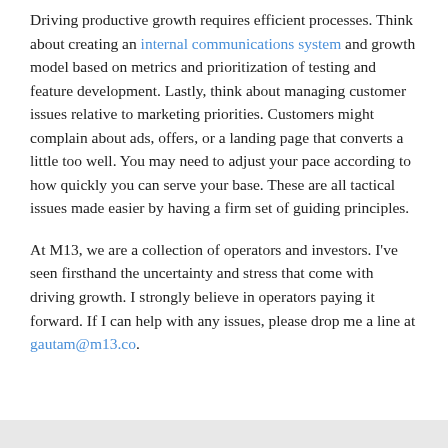Driving productive growth requires efficient processes. Think about creating an internal communications system and growth model based on metrics and prioritization of testing and feature development. Lastly, think about managing customer issues relative to marketing priorities. Customers might complain about ads, offers, or a landing page that converts a little too well. You may need to adjust your pace according to how quickly you can serve your base. These are all tactical issues made easier by having a firm set of guiding principles.
At M13, we are a collection of operators and investors. I've seen firsthand the uncertainty and stress that come with driving growth. I strongly believe in operators paying it forward. If I can help with any issues, please drop me a line at gautam@m13.co.